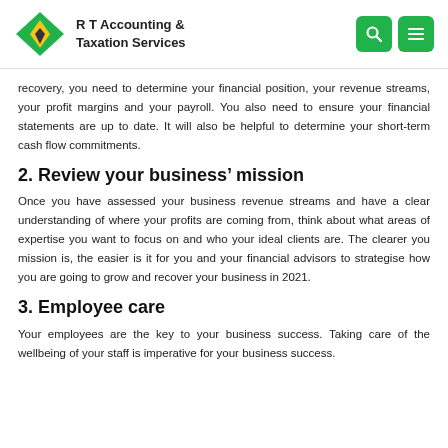R T Accounting & Taxation Services
recovery, you need to determine your financial position, your revenue streams, your profit margins and your payroll. You also need to ensure your financial statements are up to date. It will also be helpful to determine your short-term cash flow commitments.
2. Review your business’ mission
Once you have assessed your business revenue streams and have a clear understanding of where your profits are coming from, think about what areas of expertise you want to focus on and who your ideal clients are. The clearer you mission is, the easier is it for you and your financial advisors to strategise how you are going to grow and recover your business in 2021.
3. Employee care
Your employees are the key to your business success. Taking care of the wellbeing of your staff is imperative for your business success.